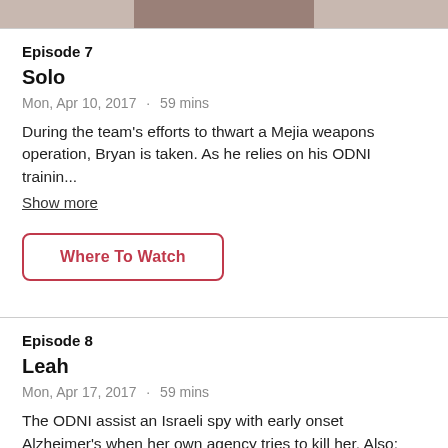[Figure (photo): Partial photo of a person at the top of the page, cropped]
Episode 7
Solo
Mon, Apr 10, 2017  ·  59 mins
During the team's efforts to thwart a Mejia weapons operation, Bryan is taken. As he relies on his ODNI trainin...
Show more
Where To Watch
Episode 8
Leah
Mon, Apr 17, 2017  ·  59 mins
The ODNI assist an Israeli spy with early onset Alzheimer's when her own agency tries to kill her. Also: Christina...